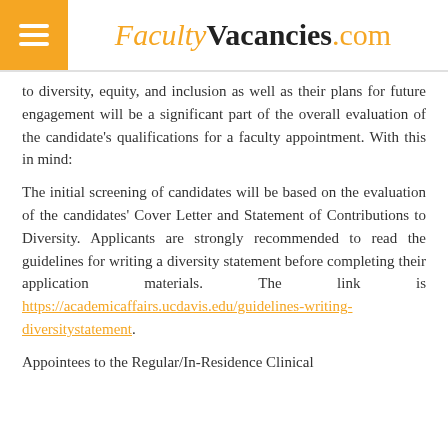FacultyVacancies.com
to diversity, equity, and inclusion as well as their plans for future engagement will be a significant part of the overall evaluation of the candidate's qualifications for a faculty appointment. With this in mind:
The initial screening of candidates will be based on the evaluation of the candidates' Cover Letter and Statement of Contributions to Diversity. Applicants are strongly recommended to read the guidelines for writing a diversity statement before completing their application materials. The link is https://academicaffairs.ucdavis.edu/guidelines-writing-diversitystatement.
Appointees to the Regular/In-Residence Clinical